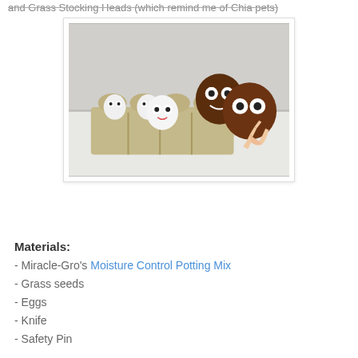and Grass Stocking Heads (which remind me of Chia pets)
[Figure (photo): An egg carton with small white egg shell characters with googly eyes and drawn-on faces, alongside two larger brown round characters with googly eyes. A child's hand is touching one of the brown characters.]
Materials:
- Miracle-Gro's Moisture Control Potting Mix
- Grass seeds
- Eggs
- Knife
- Safety Pin